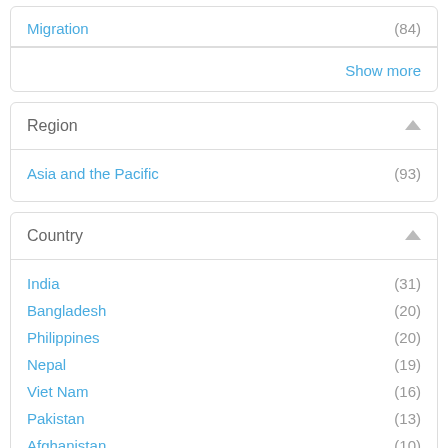Migration (84)
Show more
Region
Asia and the Pacific (93)
Country
India (31)
Bangladesh (20)
Philippines (20)
Nepal (19)
Viet Nam (16)
Pakistan (13)
Afghanistan (10)
Cambodia (10)